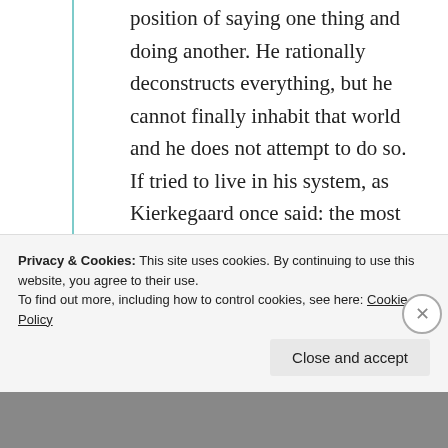position of saying one thing and doing another. He rationally deconstructs everything, but he cannot finally inhabit that world and he does not attempt to do so. If tried to live in his system, as Kierkegaard once said: the most tolerable outcome would be suicide. So there is a tension here between what the PMist believes at a conscious level and how he acts and sees the world at a more fundamental
Privacy & Cookies: This site uses cookies. By continuing to use this website, you agree to their use.
To find out more, including how to control cookies, see here: Cookie Policy
Close and accept